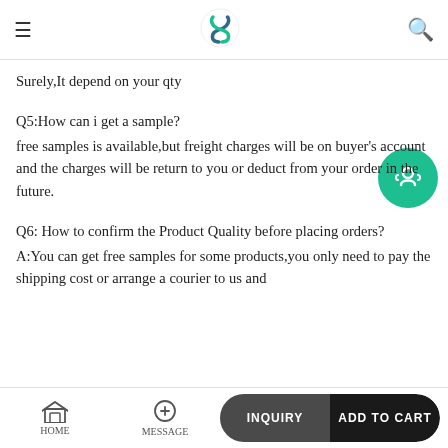Navigation bar with menu, logo, and search icon
Surely,It depend on your qty
Q5:How can i get a sample?
free samples is available,but freight charges will be on buyer's account and the charges will be return to you or deduct from your order in the future.
Q6: How to confirm the Product Quality before placing orders?
A:You can get free samples for some products,you only need to pay the shipping cost or arrange a courier to us and
HOME | MESSAGE | INQUIRY | ADD TO CART